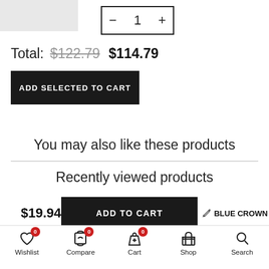[Figure (photo): Product image placeholder (grey rectangle)]
- 1 +
Total: $122.79 $114.79
ADD SELECTED TO CART
You may also like these products
Recently viewed products
$19.94  ADD TO CART  BLUE CROWN
Wishlist 0  Compare 0  Cart 0  Shop  Search